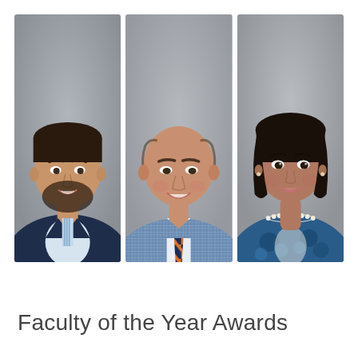[Figure (photo): Three professional headshots side by side: (1) young man with dark hair and beard wearing a navy blazer and striped shirt against a gray background; (2) bald middle-aged man wearing a blue plaid blazer and orange-navy striped tie against a gray background; (3) woman with short dark hair wearing a blue floral top and pearl necklace against a gray background.]
Faculty of the Year Awards